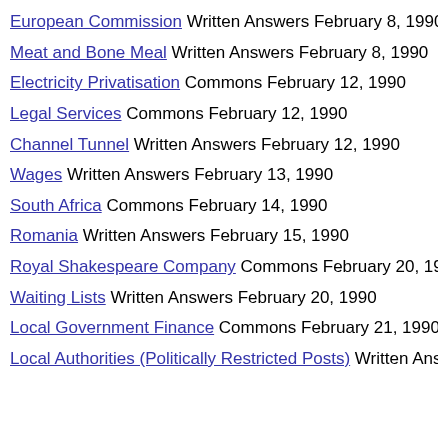European Commission Written Answers February 8, 1990
Meat and Bone Meal Written Answers February 8, 1990
Electricity Privatisation Commons February 12, 1990
Legal Services Commons February 12, 1990
Channel Tunnel Written Answers February 12, 1990
Wages Written Answers February 13, 1990
South Africa Commons February 14, 1990
Romania Written Answers February 15, 1990
Royal Shakespeare Company Commons February 20, 1990
Waiting Lists Written Answers February 20, 1990
Local Government Finance Commons February 21, 1990
Local Authorities (Politically Restricted Posts) Written Answers